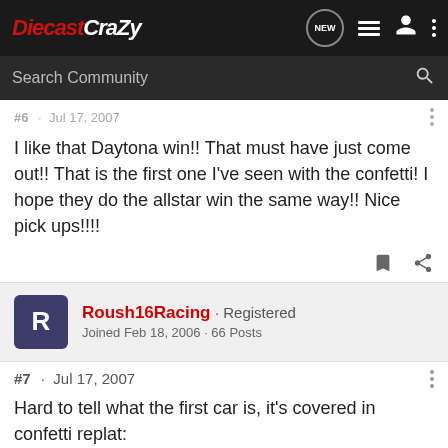[Figure (screenshot): DiecastCrazy forum website navigation bar with logo, new messages bubble, list icon, user icon, and more options dots]
Search Community
#6 · Jul 17, 2007
I like that Daytona win!! That must have just come out!! That is the first one I've seen with the confetti! I hope they do the allstar win the same way!! Nice pick ups!!!!
Roush16Racing · Registered
Joined Feb 18, 2006 · 66 Posts
#7 · Jul 17, 2007
Hard to tell what the first car is, it's covered in confetti replat: